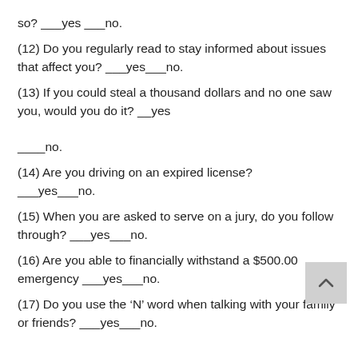so? ___yes ___no.
(12) Do you regularly read to stay informed about issues that affect you? ___yes___no.
(13) If you could steal a thousand dollars and no one saw you, would you do it? __yes

____no.
(14) Are you driving on an expired license? ___yes___no.
(15) When you are asked to serve on a jury, do you follow through? ___yes___no.
(16) Are you able to financially withstand a $500.00 emergency ___yes___no.
(17) Do you use the ‘N’ word when talking with your family or friends? ___yes___no.